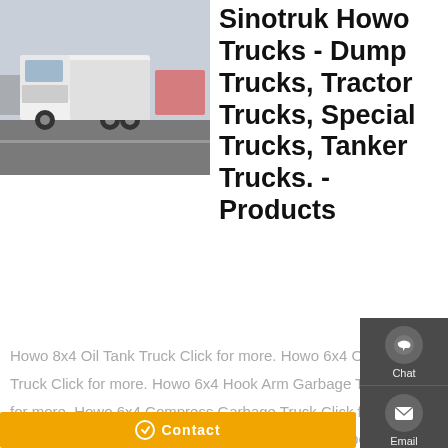[Figure (photo): White Sinotruk Howo trucks parked in a yard, outdoor daylight setting]
Sinotruk Howo Trucks - Dump Trucks, Tractor Trucks, Special Trucks, Tanker Trucks. - Products
Howo 8x4 Oil Tank Truck Click for more. Howo 6x4 Oil Tank Truck Click for more. Howo 6x4 Hook Arm Garbage Truck Click for more. Howo 6x4 Compress Garbage Truck Click for more. Axles Tipper Semi trailer Click for more. 3 Axles Tipper Semi trailer Click for more.